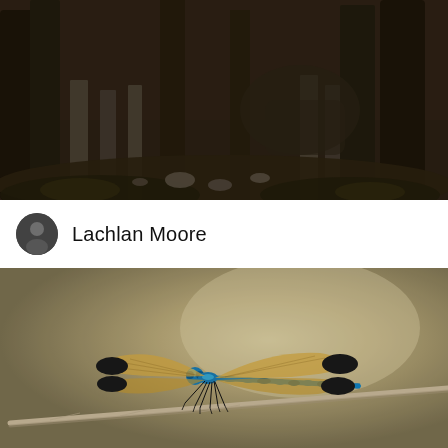[Figure (photo): Dark atmospheric forest scene with large trees and ancient stone ruins or posts; moody brown tones, elephants or large animals visible in background]
Lachlan Moore
[Figure (photo): Close-up macro photograph of a blue and black damselfly perched on a thin twig/branch, against a blurred warm beige/olive background. The damselfly has iridescent blue body segments, golden-veined wings, and black wing tips.]